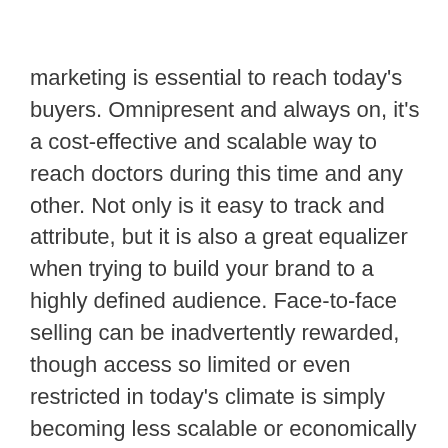marketing is essential to reach today's buyers. Omnipresent and always on, it's a cost-effective and scalable way to reach doctors during this time and any other. Not only is it easy to track and attribute, but it is also a great equalizer when trying to build your brand to a highly defined audience. Face-to-face selling can be inadvertently rewarded, though access so limited or even restricted in today's climate is simply becoming less scalable or economically viable.
Paid social and digital advertising can help you reach personal and business emails across all